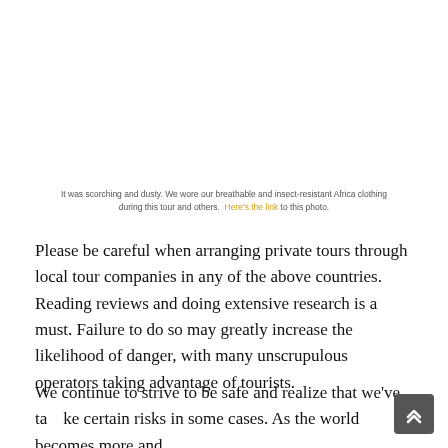It was scorching and dusty. We wore our breathable and insect-resistant Africa clothing during this tour and others.  Here's the link to this photo.
Please be careful when arranging private tours through local tour companies in any of the above countries. Reading reviews and doing extensive research is a must. Failure to do so may greatly increase the likelihood of danger, with many unscrupulous operators taking advantage of tourists.
We continue to strive to be safe and realize that we've taken certain risks in some cases. As the world becomes more and